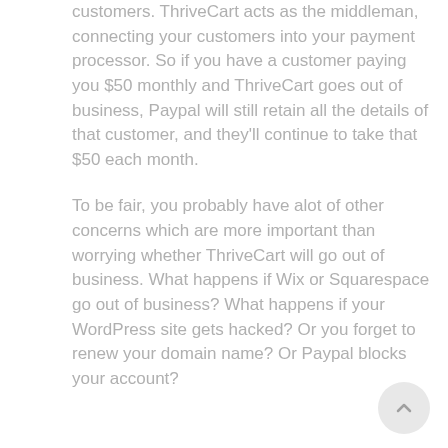customers. ThriveCart acts as the middleman, connecting your customers into your payment processor. So if you have a customer paying you $50 monthly and ThriveCart goes out of business, Paypal will still retain all the details of that customer, and they'll continue to take that $50 each month.
To be fair, you probably have alot of other concerns which are more important than worrying whether ThriveCart will go out of business. What happens if Wix or Squarespace go out of business? What happens if your WordPress site gets hacked? Or you forget to renew your domain name? Or Paypal blocks your account?